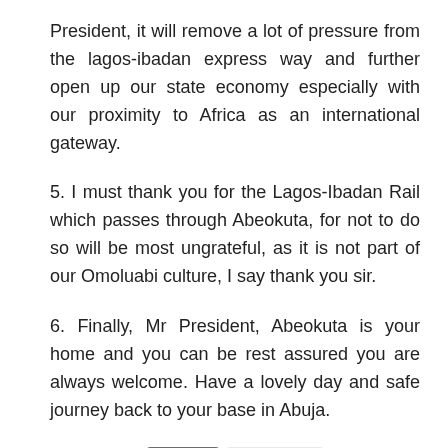President, it will remove a lot of pressure from the lagos-ibadan express way and further open up our state economy especially with our proximity to Africa as an international gateway.
5. I must thank you for the Lagos-Ibadan Rail which passes through Abeokuta, for not to do so will be most ungrateful, as it is not part of our Omoluabi culture, I say thank you sir.
6. Finally, Mr President, Abeokuta is your home and you can be rest assured you are always welcome. Have a lovely day and safe journey back to your base in Abuja.
Tags  # Opinion
[Figure (other): Social media sharing buttons: Facebook, Twitter, Google+, Pinterest, LinkedIn, Print, WhatsApp]
Author Image   About Editor